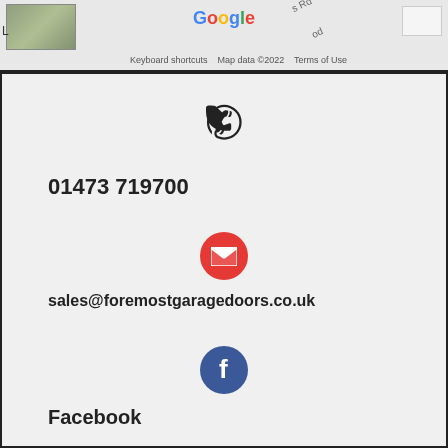[Figure (map): Google Maps screenshot showing a street map, with a thumbnail satellite view in the top left corner. Road labels visible. Google logo centered at top. Footer shows 'Keyboard shortcuts  Map data ©2022  Terms of Use'.]
01473 719700
sales@foremostgaragedoors.co.uk
Facebook
Submit Enquiry